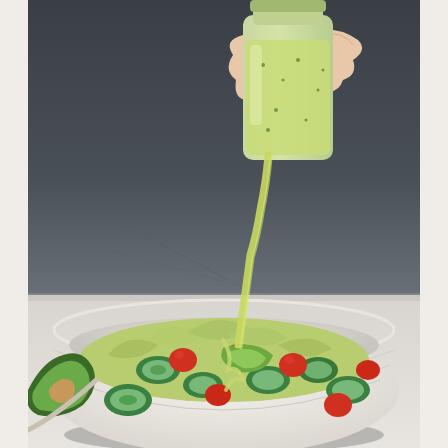[Figure (photo): A hand pouring green avocado-based salad dressing from a glass jar onto a fresh salad in a white ribbed bowl. The salad contains chopped lettuce, sliced cucumber, cherry tomatoes, and avocado. Background is a dark slate surface transitioning to a white countertop.]